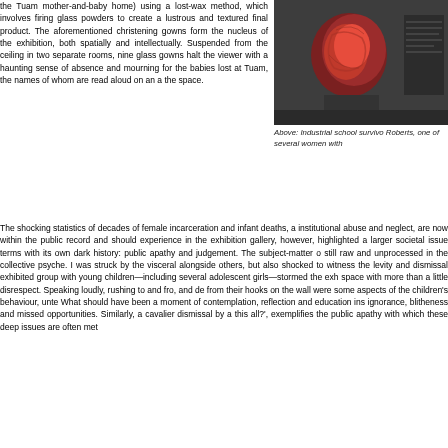the Tuam mother-and-baby home) using a lost-wax method, which involves firing glass powders to create a lustrous and textured final product. The aforementioned christening gowns form the nucleus of the exhibition, both spatially and intellectually. Suspended from the ceiling in two separate rooms, nine glass gowns halt the viewer with a haunting sense of absence and mourning for the babies lost at Tuam, the names of whom are read aloud on an a the space.
[Figure (photo): Photograph of a reddish sculptural glass object mounted on a dark wall in a gallery setting, with text panel visible in background.]
Above: Industrial school survivo Roberts, one of several women with
The shocking statistics of decades of female incarceration and infant deaths, a institutional abuse and neglect, are now within the public record and should experience in the exhibition gallery, however, highlighted a larger societal issue terms with its own dark history: public apathy and judgement. The subject-matter o still raw and unprocessed in the collective psyche. I was struck by the visceral alongside others, but also shocked to witness the levity and dismissal exhibited group with young children—including several adolescent girls—stormed the exh space with more than a little disrespect. Speaking loudly, rushing to and fro, and de from their hooks on the wall were some aspects of the children's behaviour, unte What should have been a moment of contemplation, reflection and education ins ignorance, blitheness and missed opportunities. Similarly, a cavalier dismissal by a this all?', exemplifies the public apathy with which these deep issues are often met